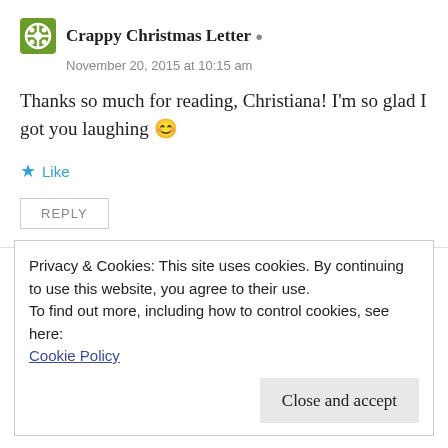Crappy Christmas Letter
November 20, 2015 at 10:15 am
Thanks so much for reading, Christiana! I'm so glad I got you laughing 😊
★ Like
REPLY
Iman Brooks
Privacy & Cookies: This site uses cookies. By continuing to use this website, you agree to their use.
To find out more, including how to control cookies, see here:
Cookie Policy
Close and accept